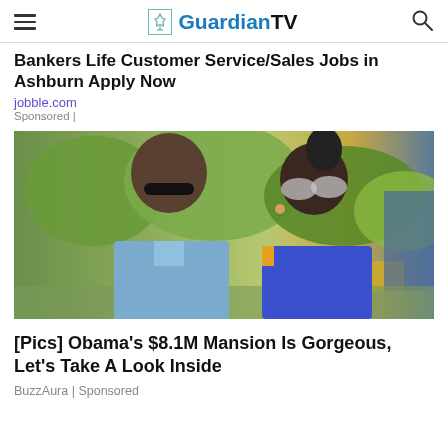GuardianTV
Bankers Life Customer Service/Sales Jobs in Ashburn Apply Now
jobble.com
Sponsored |
[Figure (photo): Photo of two people wearing sunglasses outdoors with green trees in background, man in blue checked shirt on left, woman in blue top on right]
[Pics] Obama's $8.1M Mansion Is Gorgeous, Let's Take A Look Inside
BuzzAura | Sponsored